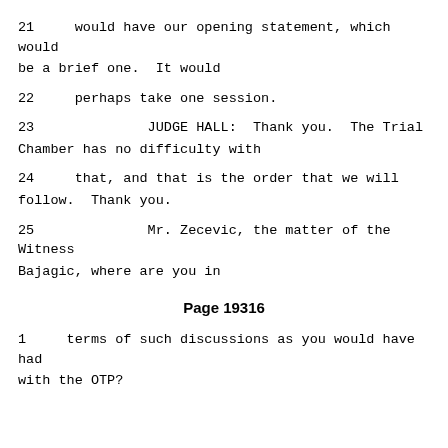21     would have our opening statement, which would be a brief one.  It would
22     perhaps take one session.
23              JUDGE HALL:  Thank you.  The Trial Chamber has no difficulty with
24     that, and that is the order that we will follow.  Thank you.
25              Mr. Zecevic, the matter of the Witness Bajagic, where are you in
Page 19316
1     terms of such discussions as you would have had with the OTP?